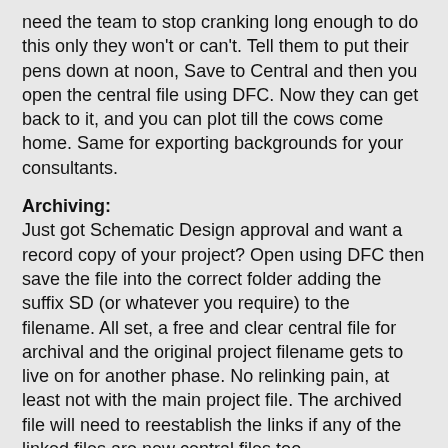need the team to stop cranking long enough to do this only they won't or can't. Tell them to put their pens down at noon, Save to Central and then you open the central file using DFC. Now they can get back to it, and you can plot till the cows come home. Same for exporting backgrounds for your consultants.
Archiving:
Just got Schematic Design approval and want a record copy of your project? Open using DFC then save the file into the correct folder adding the suffix SD (or whatever you require) to the filename. All set, a free and clear central file for archival and the original project filename gets to live on for another phase. No relinking pain, at least not with the main project file. The archived file will need to reestablish the links if any of the linked files are new central files too.
Internal Rendering:
So you like Accurender but wish the rest of the team would leave the project alone long enough to get your mitts on it? Sounding like a broken record now...DFC and go to town. Or maybe you don't like Accurender and plan to export to Viz or Max & S...